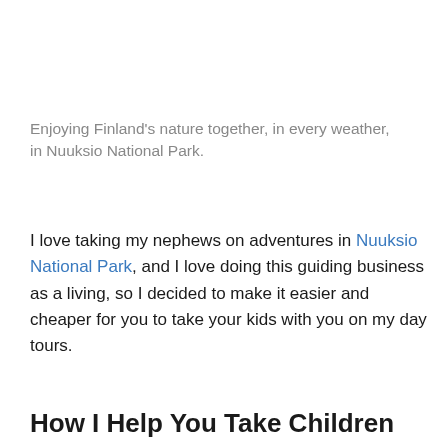Enjoying Finland’s nature together, in every weather, in Nuuksio National Park.
I love taking my nephews on adventures in Nuuksio National Park, and I love doing this guiding business as a living, so I decided to make it easier and cheaper for you to take your kids with you on my day tours.
How I Help You Take Children